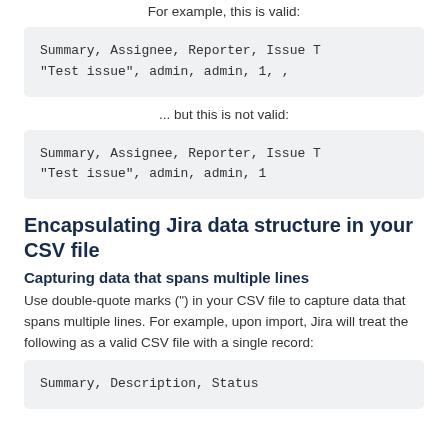For example, this is valid:
Summary, Assignee, Reporter, Issue T
"Test issue", admin, admin, 1, ,
... but this is not valid:
Summary, Assignee, Reporter, Issue T
"Test issue", admin, admin, 1
Encapsulating Jira data structure in your CSV file
Capturing data that spans multiple lines
Use double-quote marks (") in your CSV file to capture data that spans multiple lines. For example, upon import, Jira will treat the following as a valid CSV file with a single record:
Summary, Description, Status